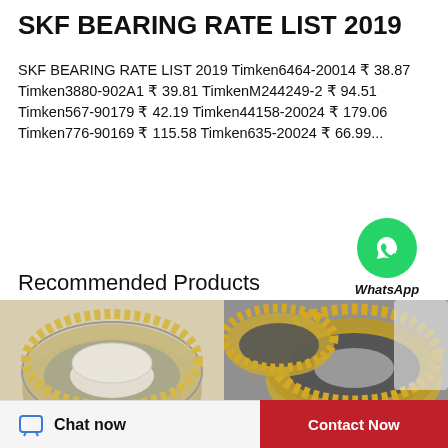SKF BEARING RATE LIST 2019
SKF BEARING RATE LIST 2019 Timken6464-20014 ₹ 38.87 Timken3880-902A1 ₹ 39.81 TimkenM244249-2 ₹ 94.51 Timken567-90179 ₹ 42.19 Timken44158-20024 ₹ 179.06 Timken776-90169 ₹ 115.58 Timken635-20024 ₹ 66.99...
[Figure (logo): WhatsApp green circle logo with phone icon and text 'WhatsApp Online']
Recommended Products
[Figure (photo): Close-up photo of a gold and silver thrust bearing on white background]
[Figure (photo): Close-up photo of gold and grey roller bearings on grey background]
Chat now
Contact Now